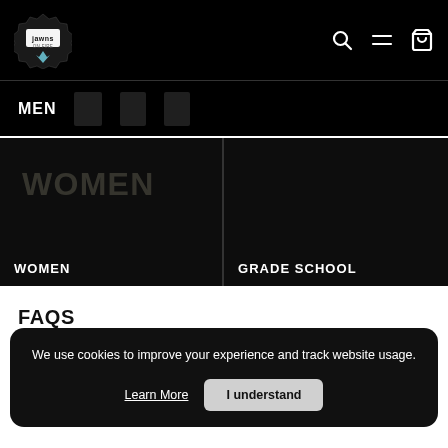[Figure (screenshot): Jawns on Fire e-commerce website header with logo, search, menu, and cart icons on black background]
MEN
[Figure (screenshot): WOMEN category banner with dark background and stylized WOMEN text overlay]
WOMEN
[Figure (screenshot): GRADE SCHOOL category banner with dark background]
GRADE SCHOOL
FAQS
We use cookies to improve your experience and track website usage.
Learn More
I understand